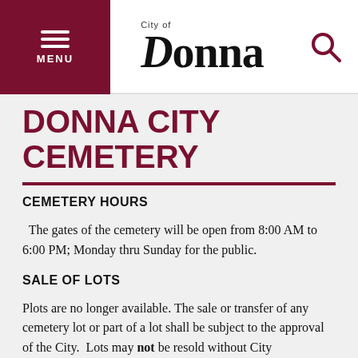MENU | City of Donna | [search icon]
DONNA CITY CEMETERY
CEMETERY HOURS
The gates of the cemetery will be open from 8:00 AM to 6:00 PM; Monday thru Sunday for the public.
SALE OF LOTS
Plots are no longer available. The sale or transfer of any cemetery lot or part of a lot shall be subject to the approval of the City. Lots may not be resold without City